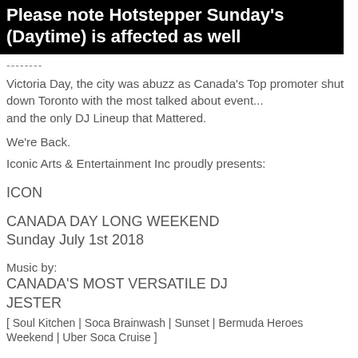Please note Hotstepper Sunday's (Daytime) is affected as well
--------
Victoria Day, the city was abuzz as Canada's Top promoter shut down Toronto with the most talked about event... and the only DJ Lineup that Mattered.
We're Back.
Iconic Arts & Entertainment Inc proudly presents:
ICON
CANADA DAY LONG WEEKEND
Sunday July 1st 2018
Music by:
CANADA'S MOST VERSATILE DJ
JESTER
[ Soul Kitchen | Soca Brainwash | Sunset | Bermuda Heroes Weekend | Uber Soca Cruise ]